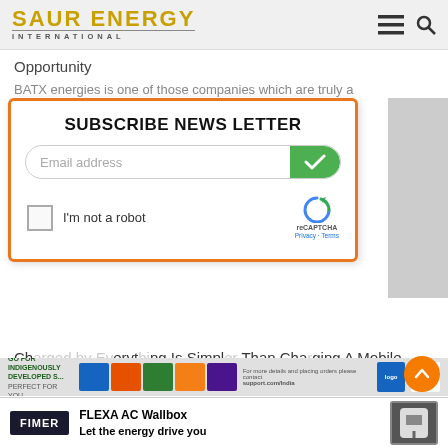SAUR ENERGY INTERNATIONAL
Opportunity
BATX energies is one of those companies which are truly a product of the times....
[Figure (screenshot): Subscribe News Letter modal with email input and reCAPTCHA]
Charging A Mobile Phone: Mayank Jain, Director, Crayon Motors
Mayank Jain, Director, Crayon Motors, began his career at the organisation in 2019. Under his...
[Figure (infographic): Banner advertisement for indigenously developed solar panels]
[Figure (infographic): FIMER FLEXA AC Wallbox advertisement - Let the energy drive you]